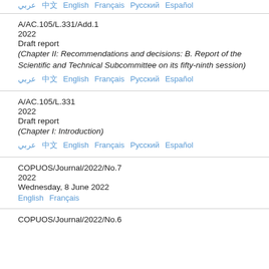عربي  中文  English  Français  Русский  Español
A/AC.105/L.331/Add.1
2022
Draft report
(Chapter II: Recommendations and decisions: B. Report of the Scientific and Technical Subcommittee on its fifty-ninth session)
عربي  中文  English  Français  Русский  Español
A/AC.105/L.331
2022
Draft report
(Chapter I: Introduction)
عربي  中文  English  Français  Русский  Español
COPUOS/Journal/2022/No.7
2022
Wednesday, 8 June 2022
English  Français
COPUOS/Journal/2022/No.6